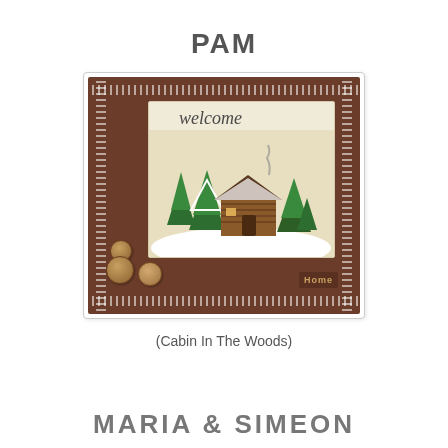PAM
[Figure (photo): A handmade craft card with a wooden/brown background featuring a 'welcome' message card insert showing a cabin in the woods scene with green trees and snow. Decorative zigzag stitching around the border, buttons on the lower left, and a 'Home' tag on the lower right.]
(Cabin In The Woods)
MARIA & SIMEON